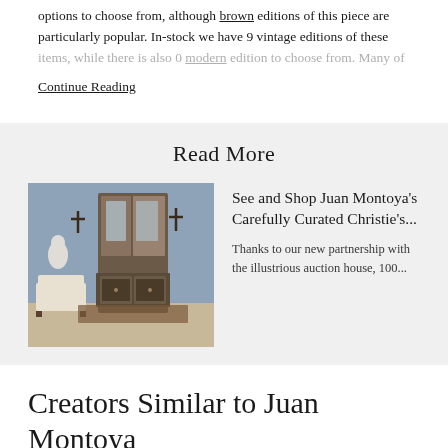options to choose from, although brown editions of this piece are particularly popular. In-stock we have 9 vintage editions of these items, while there is also 0 modern edition to choose from. Many of
Continue Reading
Read More
[Figure (photo): Interior room with antique furniture including a wardrobe with mirror, a low cabinet with ornate details, a white upholstered chair, and decorative wall pieces on a blue-grey wall.]
See and Shop Juan Montoya's Carefully Curated Christie's...
Thanks to our new partnership with the illustrious auction house, 100...
Creators Similar to Juan Montoya